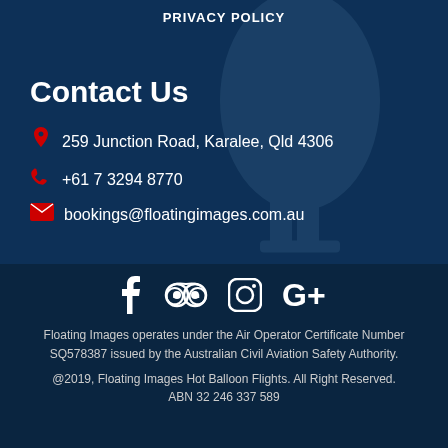PRIVACY POLICY
Contact Us
259 Junction Road, Karalee, Qld 4306
+61 7 3294 8770
bookings@floatingimages.com.au
[Figure (other): Social media icons: Facebook, TripAdvisor, Instagram, Google+]
Floating Images operates under the Air Operator Certificate Number SQ578387 issued by the Australian Civil Aviation Safety Authority.
@2019, Floating Images Hot Balloon Flights. All Right Reserved. ABN 32 246 337 589